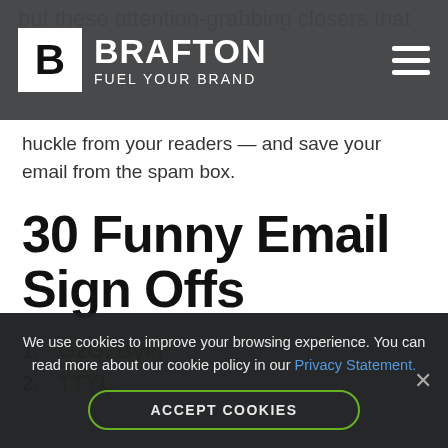BRAFTON FUEL YOUR BRAND
but these attention-grabbing closers that huckle from your readers — and save your email from the spam box.
30 Funny Email Sign Offs
1. G2G, Bye!
2. TTYL
We use cookies to improve your browsing experience. You can read more about our cookie policy in our Privacy Statement. ACCEPT COOKIES